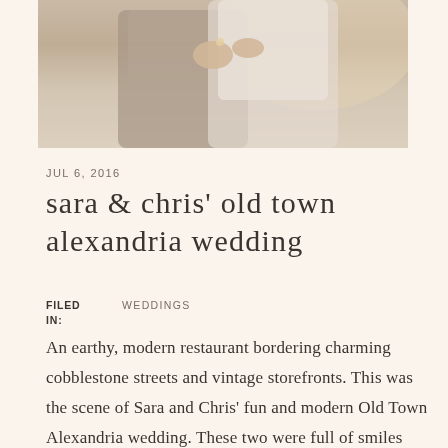[Figure (photo): Wedding photo of a couple embracing, partially cropped, showing torsos and hands. The woman is wearing white lace and the man is in a gray suit.]
JUL 6, 2016
sara & chris' old town alexandria wedding
FILED IN:   WEDDINGS
An earthy, modern restaurant bordering charming cobblestone streets and vintage storefronts. This was the scene of Sara and Chris' fun and modern Old Town Alexandria wedding. These two were full of smiles from the start of their quaint